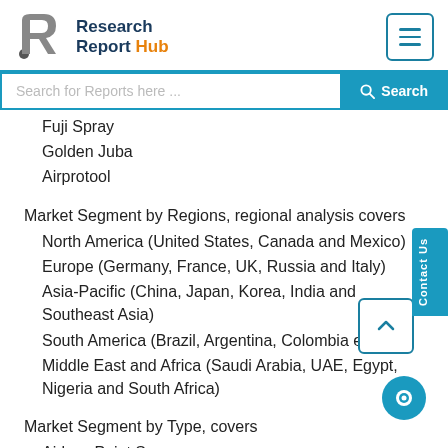Research Report Hub
Fuji Spray
Golden Juba
Airprotool
Market Segment by Regions, regional analysis covers
North America (United States, Canada and Mexico)
Europe (Germany, France, UK, Russia and Italy)
Asia-Pacific (China, Japan, Korea, India and Southeast Asia)
South America (Brazil, Argentina, Colombia etc.)
Middle East and Africa (Saudi Arabia, UAE, Egypt, Nigeria and South Africa)
Market Segment by Type, covers
Airless Paint Sprayer
HVLP Paint Sprayer